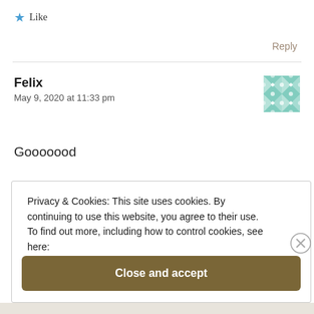★ Like
Reply
Felix
May 9, 2020 at 11:33 pm
[Figure (illustration): Teal and white geometric quilt-pattern avatar icon]
Gooooood
Privacy & Cookies: This site uses cookies. By continuing to use this website, you agree to their use.
To find out more, including how to control cookies, see here:
Cookie Policy
Close and accept